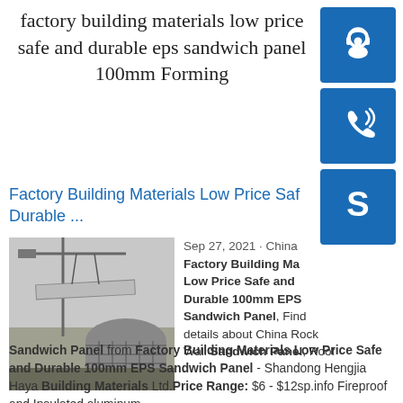factory building materials low price safe and durable eps sandwich panel 100mm Forming
[Figure (illustration): Blue icon box with customer service / headset icon]
[Figure (illustration): Blue icon box with phone/call icon]
[Figure (illustration): Blue icon box with Skype logo icon]
Factory Building Materials Low Price Safe and Durable ...
[Figure (photo): Construction site photo showing a crane lifting a large sandwich panel near a cylindrical building structure under construction]
Sep 27, 2021 · China Factory Building Materials Low Price Safe and Durable 100mm EPS Sandwich Panel, Find details about China Rock Wall Sandwich Panel, Roof Sandwich Panel from Factory Building Materials Low Price Safe and Durable 100mm EPS Sandwich Panel - Shandong Hengjia Haya Building Materials Ltd.Price Range: $6 - $12sp.info Fireproof and Insulated aluminum